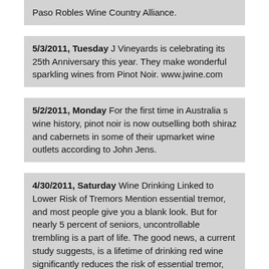Paso Robles Wine Country Alliance.
5/3/2011, Tuesday J Vineyards is celebrating its 25th Anniversary this year. They make wonderful sparkling wines from Pinot Noir. www.jwine.com
5/2/2011, Monday For the first time in Australia◆s wine history, pinot noir is now outselling both shiraz and cabernets in some of their upmarket wine outlets according to John Jens.
4/30/2011, Saturday Wine Drinking Linked to Lower Risk of Tremors Mention essential tremor, and most people give you a blank look. But for nearly 5 percent of seniors, uncontrollable trembling is a part of life. The good news, a current study suggests, is a lifetime of drinking red wine significantly reduces the risk of essential tremor, the official name for a pattern of involuntary, continuous movements that intensify with age.
4/28/2011, Wednesday Jess Jackson, a titan of the California wine industry died today at his home in Geyserville, California after a long battle with cancer. He was 81 years old. Building on his highly successful Kendall-Jackson brand, Jackson and